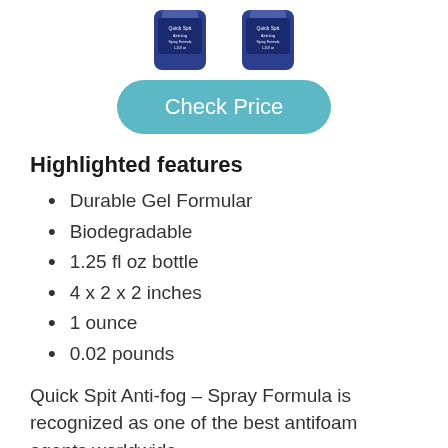[Figure (photo): Two small dark blue bottles of Quick Spit Anti-fog Spray Formula product, side by side, partially cropped at top of page]
[Figure (other): Teal/cyan rounded button with white text reading 'Check Price']
Highlighted features
Durable Gel Formular
Biodegradable
1.25 fl oz bottle
4 x 2 x 2 inches
1 ounce
0.02 pounds
Quick Spit Anti-fog – Spray Formula is recognized as one of the best antifoam agents worldwide.